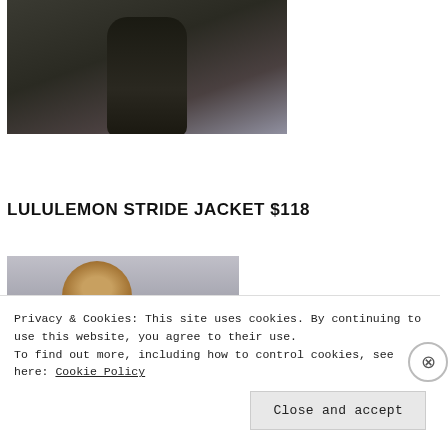[Figure (photo): Photo of a person wearing a dark athletic jacket and black pants, viewed from mid-torso downward in a gym/studio setting with exercise mats on the floor]
LULULEMON STRIDE JACKET $118
[Figure (photo): Partial photo of a person with a braided updo hairstyle, light gray background, cropped to show top of head]
Privacy & Cookies: This site uses cookies. By continuing to use this website, you agree to their use.
To find out more, including how to control cookies, see here: Cookie Policy
Close and accept